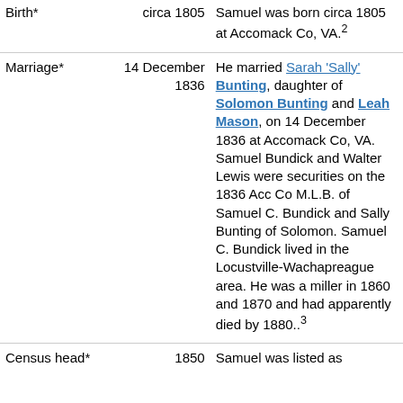| Birth* | circa 1805 | Samuel was born circa 1805 at Accomack Co, VA.[2] |
| Marriage* | 14 December 1836 | He married Sarah 'Sally' Bunting, daughter of Solomon Bunting and Leah Mason, on 14 December 1836 at Accomack Co, VA. Samuel Bundick and Walter Lewis were securities on the 1836 Acc Co M.L.B. of Samuel C. Bundick and Sally Bunting of Solomon. Samuel C. Bundick lived in the Locustville-Wachapreague area. He was a miller in 1860 and 1870 and had apparently died by 1880..[3] |
| Census head* | 1850 | Samuel was listed as... |